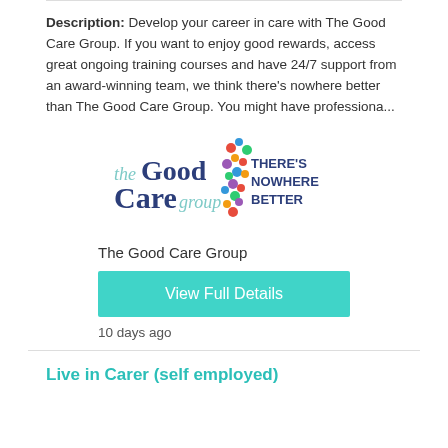Description: Develop your career in care with The Good Care Group. If you want to enjoy good rewards, access great ongoing training courses and have 24/7 support from an award-winning team, we think there's nowhere better than The Good Care Group. You might have professiona...
[Figure (logo): The Good Care Group logo with text 'the Good Care group THERE'S NOWHERE BETTER' and a colorful map of the UK]
The Good Care Group
View Full Details
10 days ago
Live in Carer (self employed)